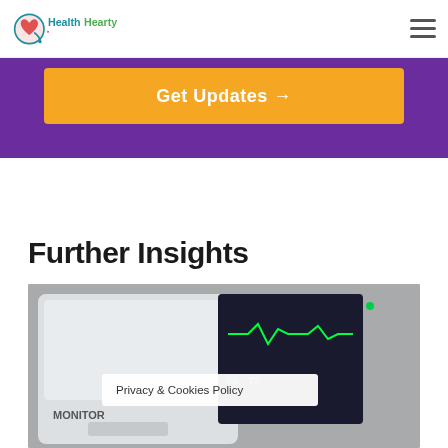HealthHearty
Get Updates →
Further Insights
[Figure (photo): Close-up photo of a medical patient monitor device with a dark screen showing green readouts]
Privacy & Cookies Policy